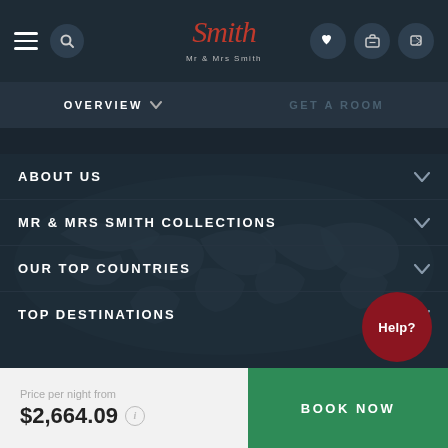Mr & Mrs Smith — Navigation header with logo, hamburger menu, search, phone, heart, and luggage icons
OVERVIEW  GET A ROOM
ABOUT US
MR & MRS SMITH COLLECTIONS
OUR TOP COUNTRIES
TOP DESTINATIONS
Help?
Price per night from
$2,664.09
BOOK NOW